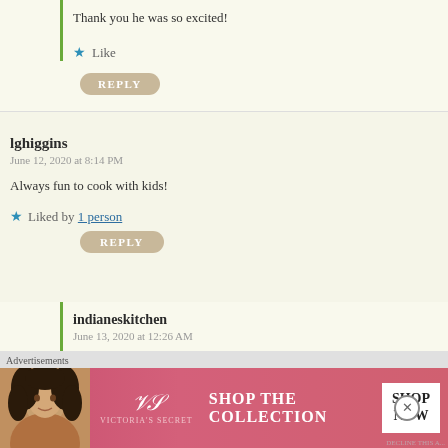Thank you he was so excited!
Like
REPLY
lghiggins
June 12, 2020 at 8:14 PM
Always fun to cook with kids!
Liked by 1 person
REPLY
indianeskitchen
June 13, 2020 at 12:26 AM
Yes it sure is and he was so excited. The worse part
Advertisements
[Figure (photo): Victoria's Secret advertisement banner with a woman and pink background, text: SHOP THE COLLECTION, SHOP NOW button]